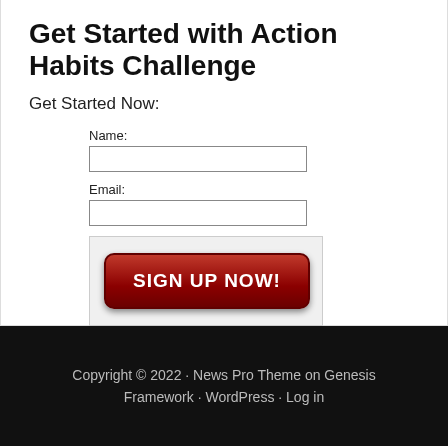Get Started with Action Habits Challenge
Get Started Now:
Name:
[input field]
Email:
[input field]
[SIGN UP NOW! button]
Copyright © 2022 · News Pro Theme on Genesis Framework · WordPress · Log in